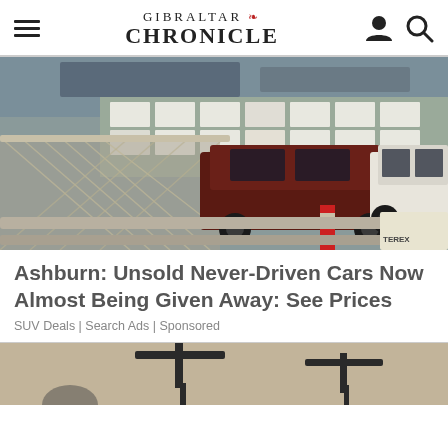GIBRALTAR CHRONICLE
[Figure (photo): Aerial view of a large lot filled with hundreds of new Toyota FJ Cruiser SUVs parked behind a chain-link fence, with a dark red one prominent in the foreground, near a port.]
Ashburn: Unsold Never-Driven Cars Now Almost Being Given Away: See Prices
SUV Deals | Search Ads | Sponsored
[Figure (photo): Partial image of electric scooters on a light brown/tan background, cropped at the bottom of the page.]